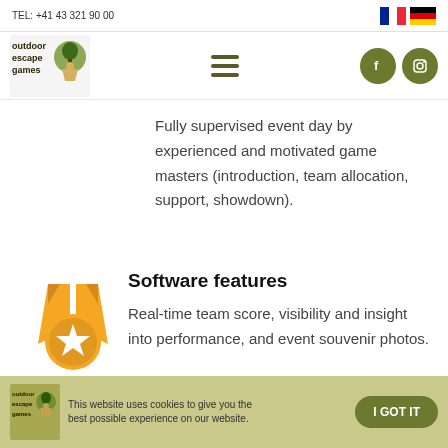TEL: +41 43 321 90 00
[Figure (logo): Outdoor Escape Games logo with keyhole and tree design]
Fully supervised event day by experienced and motivated game masters (introduction, team allocation, support, showdown).
[Figure (illustration): Gold medal icon with star]
Software features
Real-time team score, visibility and insight into performance, and event souvenir photos.
This website uses cookies to give you the best possible experience on our website.